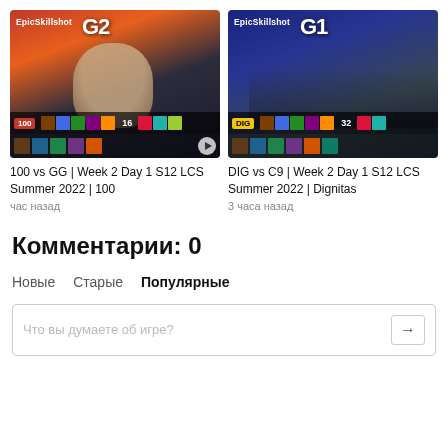[Figure (screenshot): Video thumbnail for '100 vs GG | Week 2 Day 1 S12 LCS Summer 2022 | 100' showing a gamer with headset, EpicSkillshot G2 overlay, team scores 100 vs 16]
100 vs GG | Week 2 Day 1 S12 LCS Summer 2022 | 100
час назад
[Figure (screenshot): Video thumbnail for 'DIG vs C9 | Week 2 Day 1 S12 LCS Summer 2022 | Dignitas' showing esports players, EpicSkillshot G1 overlay, DIG vs 32]
DIG vs C9 | Week 2 Day 1 S12 LCS Summer 2022 | Dignitas
3 часа назад
Комментарии: 0
Новые   Старые   Популярные
Что вы думаете об игре?